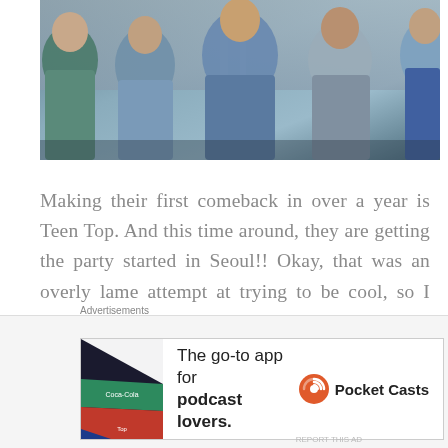[Figure (photo): Group of young men standing in a hallway or corridor, wearing casual/streetwear clothing including denim jackets and plaid shirts]
Making their first comeback in over a year is Teen Top. And this time around, they are getting the party started in Seoul!! Okay, that was an overly lame attempt at trying to be cool, so I will just tone it back down. Teen Top's latest comeback single is titled as Seoul Night,
Advertisements
[Figure (other): Advertisement banner for Pocket Casts app — 'The go-to app for podcast lovers.' with Pocket Casts logo]